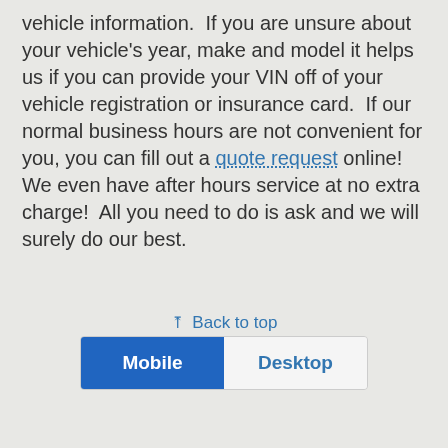vehicle information.  If you are unsure about your vehicle's year, make and model it helps us if you can provide your VIN off of your vehicle registration or insurance card.  If our normal business hours are not convenient for you, you can fill out a quote request online!  We even have after hours service at no extra charge!  All you need to do is ask and we will surely do our best.
Back to top
Mobile | Desktop